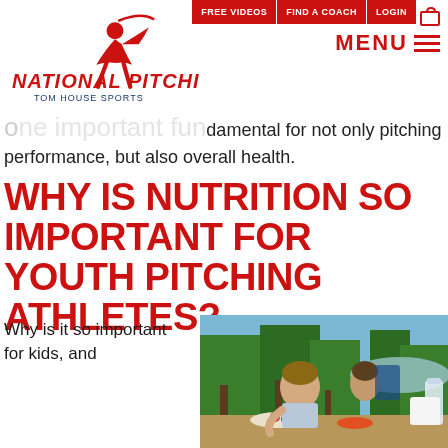FREE VIDEOS | FIND A COACH | LOGIN | MENU
[Figure (logo): National Pitching Tom House Sports logo with red pitcher silhouette and red/blue text]
one important fundamental for not only pitching performance, but also overall health.
WHY IS NUTRITION SO IMPORTANT FOR YOUTH PITCHING ATHLETES?
Why is it so important for kids, and
[Figure (photo): A young boy eating/looking at food outdoors with trees and water in background]